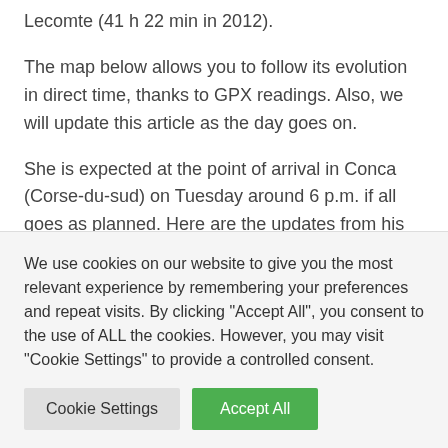Lecomte (41 h 22 min in 2012).
The map below allows you to follow its evolution in direct time, thanks to GPX readings. Also, we will update this article as the day goes on.
She is expected at the point of arrival in Conca (Corse-du-sud) on Tuesday around 6 p.m. if all goes as planned. Here are the updates from his journey:
12:30 p.m.: Anne-Lise Rousset crossed the Punta Minuta, which is
We use cookies on our website to give you the most relevant experience by remembering your preferences and repeat visits. By clicking "Accept All", you consent to the use of ALL the cookies. However, you may visit "Cookie Settings" to provide a controlled consent.